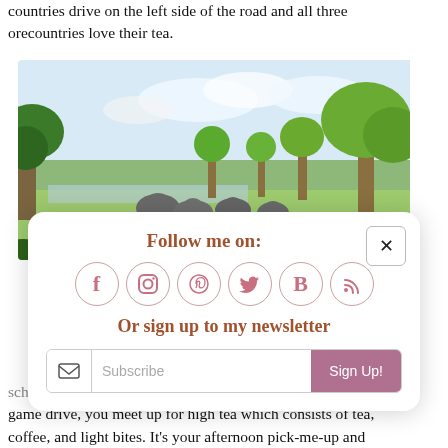countries drive on the left side of the road and all three countries love their tea.
[Figure (photo): Safari landscape with elephants grazing on green grassland, trees in background, bright sky]
Follow me on:
[Figure (infographic): Social media icons in circles: Facebook (f), Instagram, Pinterest, Twitter (bird), Bloglovin (B), RSS feed]
Or sign up to my newsletter
Subscribe  Sign Up!
schedule definitely involves high tea. Before your afternoon game drive, you meet up for high tea which consists of tea, coffee, and light bites. It's your afternoon pick-me-up and